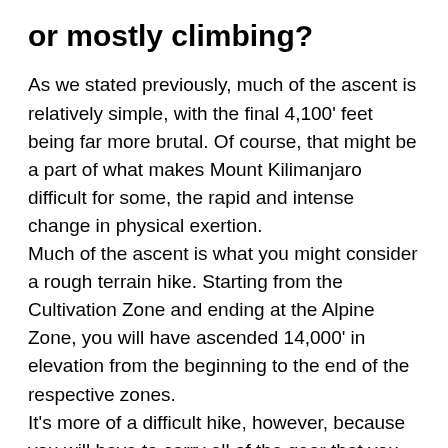or mostly climbing?
As we stated previously, much of the ascent is relatively simple, with the final 4,100' feet being far more brutal. Of course, that might be a part of what makes Mount Kilimanjaro difficult for some, the rapid and intense change in physical exertion.
Much of the ascent is what you might consider a rough terrain hike. Starting from the Cultivation Zone and ending at the Alpine Zone, you will have ascended 14,000' in elevation from the beginning to the end of the respective zones.
It's more of a difficult hike, however, because you will have to carry all of the gear that you will need for the journey. What is the impact on this on the…